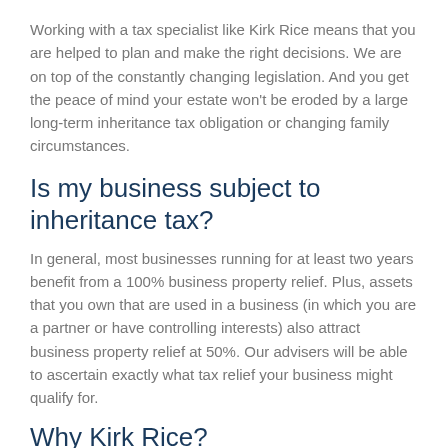Working with a tax specialist like Kirk Rice means that you are helped to plan and make the right decisions. We are on top of the constantly changing legislation. And you get the peace of mind your estate won't be eroded by a large long-term inheritance tax obligation or changing family circumstances.
Is my business subject to inheritance tax?
In general, most businesses running for at least two years benefit from a 100% business property relief. Plus, assets that you own that are used in a business (in which you are a partner or have controlling interests) also attract business property relief at 50%. Our advisers will be able to ascertain exactly what tax relief your business might qualify for.
Why Kirk Rice?